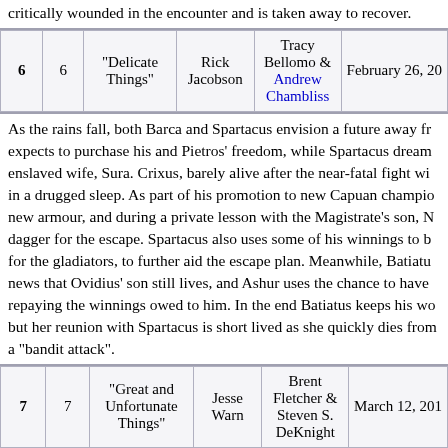critically wounded in the encounter and is taken away to recover.
| # | # | Title | Director | Writer | Air Date |
| --- | --- | --- | --- | --- | --- |
| 6 | 6 | "Delicate Things" | Rick Jacobson | Tracy Bellomo & Andrew Chambliss | February 26, 20... |
As the rains fall, both Barca and Spartacus envision a future away fr... expects to purchase his and Pietros' freedom, while Spartacus dream... enslaved wife, Sura. Crixus, barely alive after the near-fatal fight wi... in a drugged sleep. As part of his promotion to new Capuan champio... new armour, and during a private lesson with the Magistrate's son, N... dagger for the escape. Spartacus also uses some of his winnings to b... for the gladiators, to further aid the escape plan. Meanwhile, Batiatu... news that Ovidius' son still lives, and Ashur uses the chance to have ... repaying the winnings owed to him. In the end Batiatus keeps his wo... but her reunion with Spartacus is short lived as she quickly dies from... a "bandit attack".
| # | # | Title | Director | Writer | Air Date |
| --- | --- | --- | --- | --- | --- |
| 7 | 7 | "Great and Unfortunate Things" | Jesse Warn | Brent Fletcher & Steven S. DeKnight | March 12, 201... |
Spartacus' world is changed by the death of his wife and he finds hi... In the absence of Barca, Pietros struggles without a protector and is ... the brutal attentions of Gnaeus. Meanwhile, Varro is visited by his w...